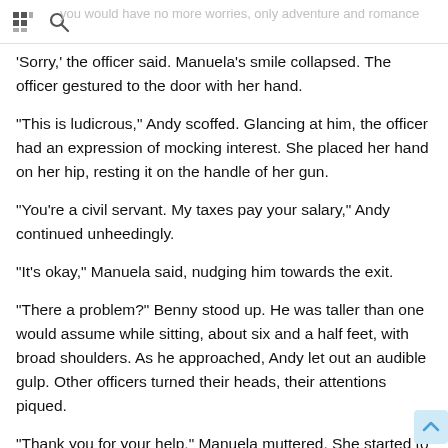[grid icon] [search icon] ...you would have no more worries, only adventure and romance
'Sorry,' the officer said. Manuela's smile collapsed. The officer gestured to the door with her hand.
"This is ludicrous," Andy scoffed. Glancing at him, the officer had an expression of mocking interest. She placed her hand on her hip, resting it on the handle of her gun.
"You're a civil servant. My taxes pay your salary," Andy continued unheedingly.
"It's okay," Manuela said, nudging him towards the exit.
"There a problem?" Benny stood up. He was taller than one would assume while sitting, about six and a half feet, with broad shoulders. As he approached, Andy let out an audible gulp. Other officers turned their heads, their attentions piqued.
"Thank you for your help," Manuela muttered. She started to leave, but Andy didn't move. She tugged his arm. Stirred from his petrified state,